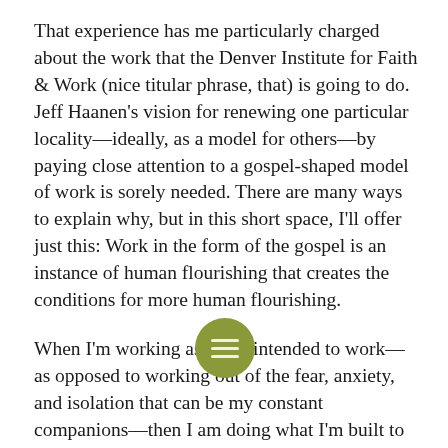That experience has me particularly charged about the work that the Denver Institute for Faith & Work (nice titular phrase, that) is going to do. Jeff Haanen's vision for renewing one particular locality—ideally, as a model for others—by paying close attention to a gospel-shaped model of work is sorely needed. There are many ways to explain why, but in this short space, I'll offer just this: Work in the form of the gospel is an instance of human flourishing that creates the conditions for more human flourishing.
When I'm working as I was intended to work—as opposed to working out of the fear, anxiety, and isolation that can be my constant companions—then I am doing what I'm built to do. I'm realizing the imago dei in me, and I create goods that are truly good because they are consistent with some mysterious good design that's at the root of my being. Those kinds of goods are an offering available to others, a message